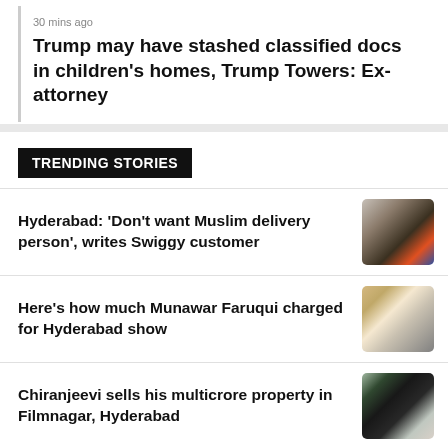30 mins ago
Trump may have stashed classified docs in children's homes, Trump Towers: Ex-attorney
TRENDING STORIES
Hyderabad: 'Don't want Muslim delivery person', writes Swiggy customer
[Figure (photo): Delivery person on a motorcycle]
Here's how much Munawar Faruqui charged for Hyderabad show
[Figure (photo): Portrait of Munawar Faruqui]
Chiranjeevi sells his multicrore property in Filmnagar, Hyderabad
[Figure (photo): Portrait of Chiranjeevi]
Sonali Phogat's murderer was her
[Figure (photo): Portrait of Sonali Phogat]